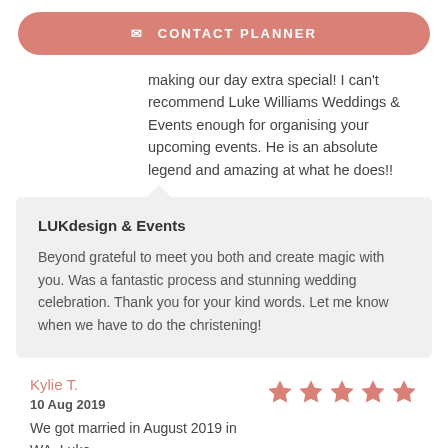✉ CONTACT PLANNER
making our day extra special! I can't recommend Luke Williams Weddings & Events enough for organising your upcoming events. He is an absolute legend and amazing at what he does!!
LUKdesign & Events
Beyond grateful to meet you both and create magic with you. Was a fantastic process and stunning wedding celebration. Thank you for your kind words. Let me know when we have to do the christening!
Kylie T.
10 Aug 2019
We got married in August 2019 in WA. Luke was super organized, professional along the